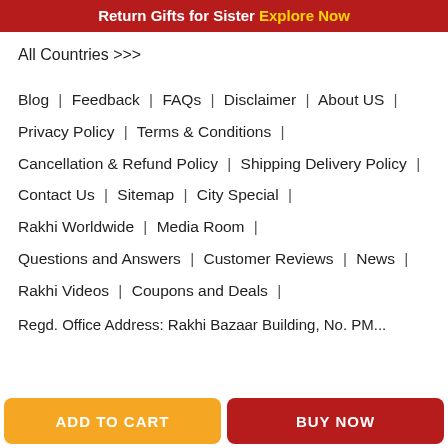Return Gifts for Sister Explore Now
All Countries >>>
Blog | Feedback | FAQs | Disclaimer | About US | Privacy Policy | Terms & Conditions | Cancellation & Refund Policy | Shipping Delivery Policy | Contact Us | Sitemap | City Special | Rakhi Worldwide | Media Room | Questions and Answers | Customer Reviews | News | Rakhi Videos | Coupons and Deals |
Regd. Office Address: Rakhi Bazaar Building, No. PM...
ADD TO CART
BUY NOW